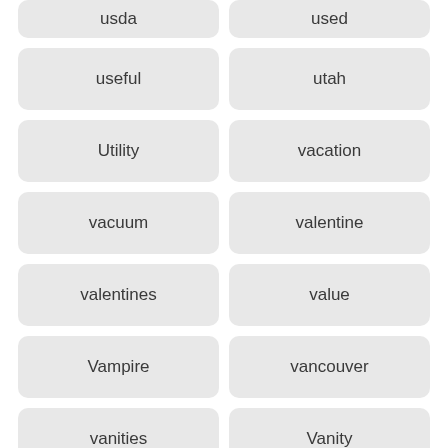usda
used
useful
utah
Utility
vacation
vacuum
valentine
valentines
value
Vampire
vancouver
vanities
Vanity
Vapor
Vase
vegas
veneer
venues
Vera